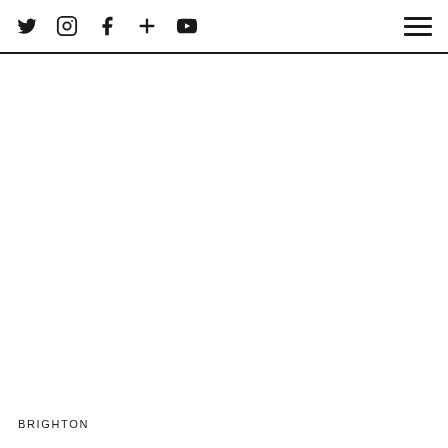Social media icons: Twitter, Instagram, Facebook, Plus, YouTube; Hamburger menu
BRIGHTON